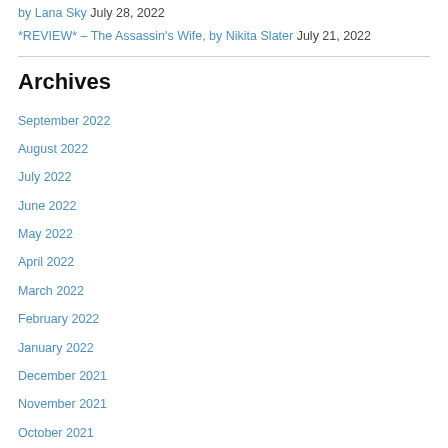by Lana Sky July 28, 2022
*REVIEW* – The Assassin's Wife, by Nikita Slater July 21, 2022
Archives
September 2022
August 2022
July 2022
June 2022
May 2022
April 2022
March 2022
February 2022
January 2022
December 2021
November 2021
October 2021
September 2021
August 2021